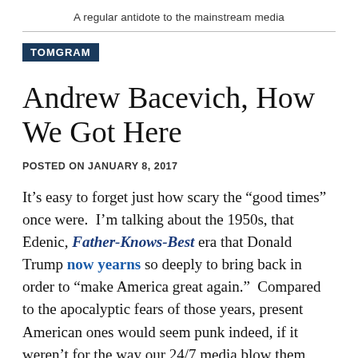A regular antidote to the mainstream media
TOMGRAM
Andrew Bacevich, How We Got Here
POSTED ON JANUARY 8, 2017
It’s easy to forget just how scary the “good times” once were.  I’m talking about the 1950s, that Edenic, Father-Knows-Best era that Donald Trump now yearns so deeply to bring back in order to “make America great again.”  Compared to the apocalyptic fears of those years, present American ones would seem punk indeed, if it weren’t for the way our 24/7 media blow them